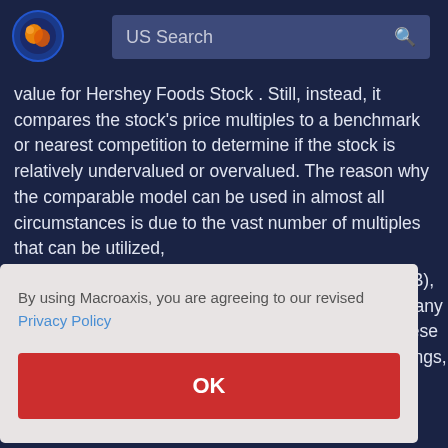US Search
value for Hershey Foods Stock . Still, instead, it compares the stock's price multiples to a benchmark or nearest competition to determine if the stock is relatively undervalued or overvalued. The reason why the comparable model can be used in almost all circumstances is due to the vast number of multiples that can be utilized,
VB), many hese nings,
By using Macroaxis, you are agreeing to our revised Privacy Policy
OK
Hershey Number Of Employees vs. Net Income